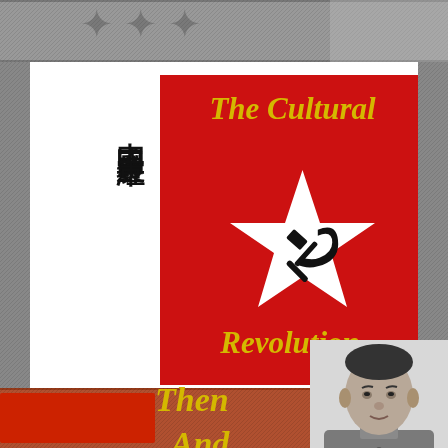[Figure (illustration): Book cover for 'The Cultural Revolution Then And Mao' featuring a red flag with white star containing hammer and sickle emblem, Chinese characters reading 中國工農紅軍, yellow italic title text, a black-and-white portrait photo of Mao Zedong, and decorative engraving-style border with bottom red/orange strip.]
The Cultural Revolution
中國工農紅軍
Then And Mao